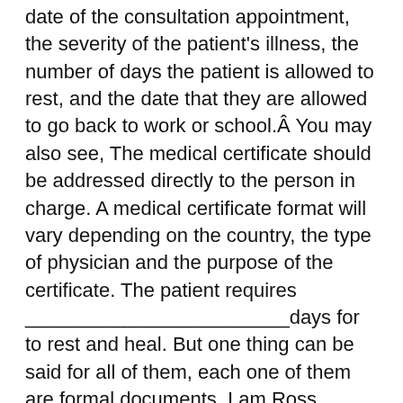date of the consultation appointment, the severity of the patient's illness, the number of days the patient is allowed to rest, and the date that they are allowed to go back to work or school.Â You may also see, The medical certificate should be addressed directly to the person in charge. A medical certificate format will vary depending on the country, the type of physician and the purpose of the certificate. The patient requires ________________________days for to rest and heal. But one thing can be said for all of them, each one of them are formal documents. I am Ross Ramen. This section will bear the date of issue or for how long the certificate will be valid. Not any travelling, ready rooms or perhaps paperwork! In Have a Doctor's Medical Certificate Format For Sick Leave For Student from Aussie Accredited and Registered GPs from the